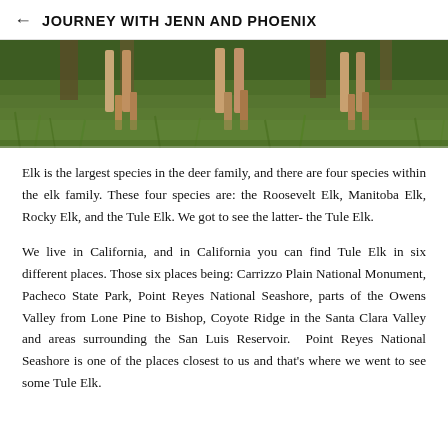JOURNEY WITH JENN AND PHOENIX
[Figure (photo): Photograph of elk legs and lower body standing in green grass with trees in background, cropped at top showing only legs and grassland.]
Elk is the largest species in the deer family, and there are four species within the elk family. These four species are: the Roosevelt Elk, Manitoba Elk, Rocky Elk, and the Tule Elk. We got to see the latter- the Tule Elk.
We live in California, and in California you can find Tule Elk in six different places. Those six places being: Carrizzo Plain National Monument, Pacheco State Park, Point Reyes National Seashore, parts of the Owens Valley from Lone Pine to Bishop, Coyote Ridge in the Santa Clara Valley and areas surrounding the San Luis Reservoir.  Point Reyes National Seashore is one of the places closest to us and that's where we went to see some Tule Elk.